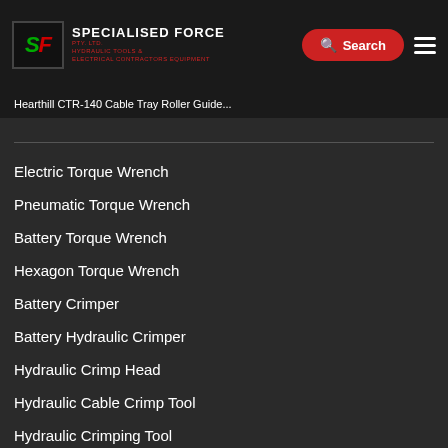Specialised Force Pty. Ltd. — Hydraulic Tools & Electrical Contractors Equipment
Hearthill CTR-140 Cable Tray Roller Guide...
Electric Torque Wrench
Pneumatic Torque Wrench
Battery Torque Wrench
Hexagon Torque Wrench
Battery Crimper
Battery Hydraulic Crimper
Hydraulic Crimp Head
Hydraulic Cable Crimp Tool
Hydraulic Crimping Tool
Air Hydraulic Jacks
Air Jacks for Cars
Air Operated Jacks